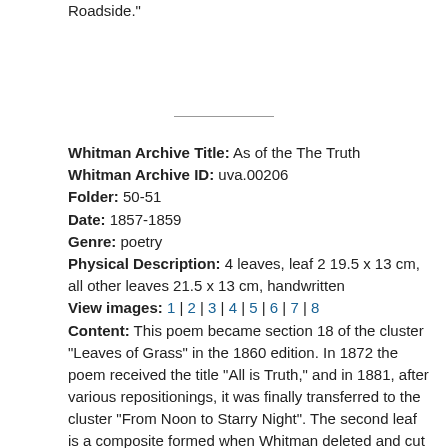Roadside."
Whitman Archive Title: As of the The Truth
Whitman Archive ID: uva.00206
Folder: 50-51
Date: 1857-1859
Genre: poetry
Physical Description: 4 leaves, leaf 2 19.5 x 13 cm, all other leaves 21.5 x 13 cm, handwritten
View images: 1 | 2 | 3 | 4 | 5 | 6 | 7 | 8
Content: This poem became section 18 of the cluster "Leaves of Grass" in the 1860 edition. In 1872 the poem received the title "All is Truth," and in 1881, after various repositionings, it was finally transferred to the cluster "From Noon to Starry Night". The second leaf is a composite formed when Whitman deleted and cut away the original first two verses on the leaf, flipped the new small section over and upside-down, pasted it to the foot of the remaining